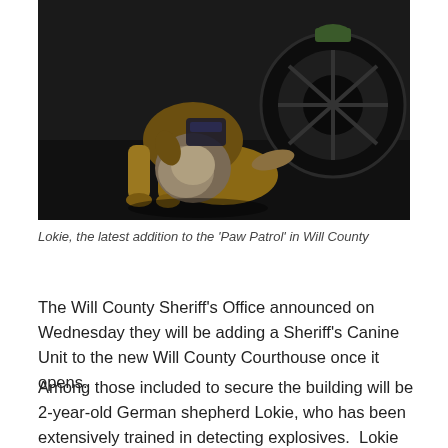[Figure (photo): A German shepherd puppy (Lokie) crouching low near a car tire, wearing a small vest/harness. The dog is photographed on a dark surface, with a black car wheel visible behind it.]
Lokie, the latest addition to the 'Paw Patrol' in Will County
The Will County Sheriff's Office announced on Wednesday they will be adding a Sheriff's Canine Unit to the new Will County Courthouse once it opens.
Among those included to secure the building will be 2-year-old German shepherd Lokie, who has been extensively trained in detecting explosives.  Lokie and his deputy handler will be on-duty five days a week during courthouse hours.